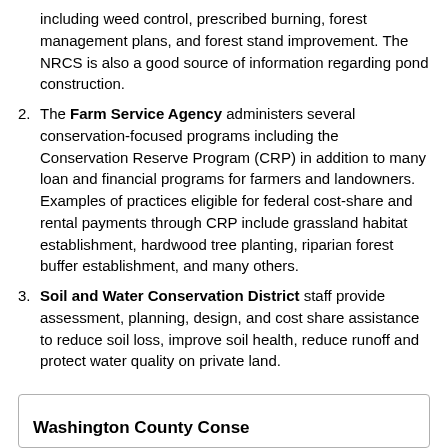including weed control, prescribed burning, forest management plans, and forest stand improvement. The NRCS is also a good source of information regarding pond construction.
The Farm Service Agency administers several conservation-focused programs including the Conservation Reserve Program (CRP) in addition to many loan and financial programs for farmers and landowners. Examples of practices eligible for federal cost-share and rental payments through CRP include grassland habitat establishment, hardwood tree planting, riparian forest buffer establishment, and many others.
Soil and Water Conservation District staff provide assessment, planning, design, and cost share assistance to reduce soil loss, improve soil health, reduce runoff and protect water quality on private land.
Washington County Conse...